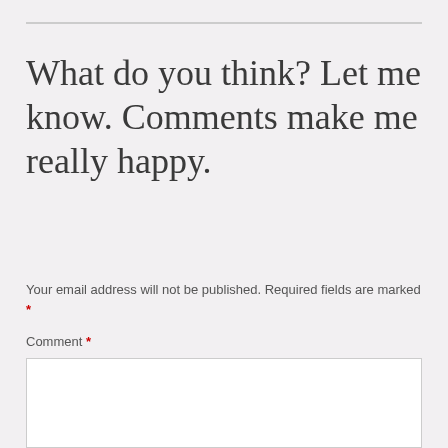What do you think? Let me know. Comments make me really happy.
Your email address will not be published. Required fields are marked *
Comment *